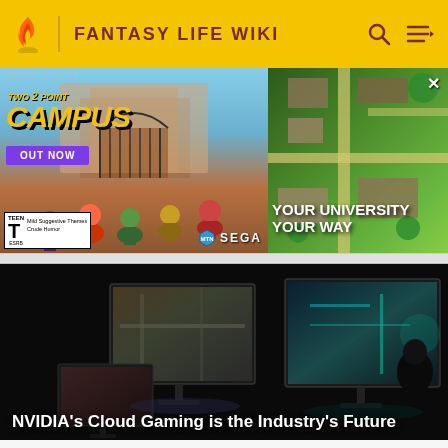FANTASY LIFE WIKI
[Figure (illustration): Advertisement for Two Point Campus game by SEGA. Left side shows animated student characters in front of a university building with text 'TWO POINT CAMPUS OUT NOW'. ESRB Teen rating shown. Right side shows aerial campus map with text 'YOUR UNIVERSITY YOUR WAY'.]
[Figure (screenshot): Dark screenshot showing multiple gaming monitors displaying video game footage, used as article thumbnail for NVIDIA cloud gaming article.]
NVIDIA's Cloud Gaming is the Industry's Future